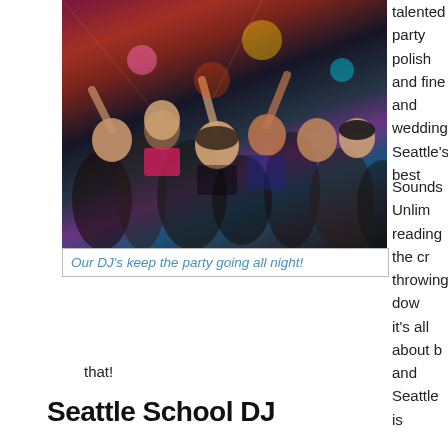[Figure (photo): Crowd of people at a party or dance event, colorful lighting, people dancing and celebrating]
Our DJ's keep the party going all night!
talented party polish and fine and wedding Seattle's best
Sounds Unlim reading the cr throwing dow it's all about b and Seattle is that!
Seattle School DJ
Lights, Flash, Great Music, and an awesome DJ are what make incredibly popular throughout the Northwest and Washington Sc
The bass pounds, lights produce a killer show, and the music is s dance. Every school is different and a School Dance DJ has to kn requests, and play the right music. Count on us to get it right an to have the best DJ entertainment but our many awards prove it